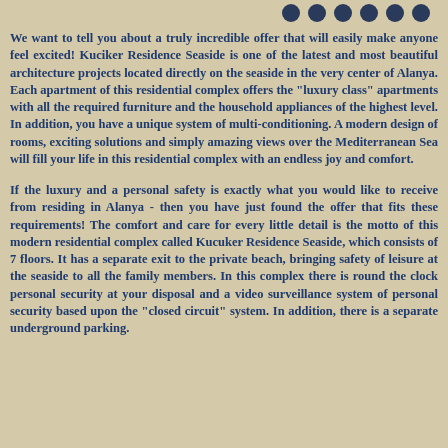[Figure (other): Row of six dark circular dots in the top-right area of the page]
We want to tell you about a truly incredible offer that will easily make anyone feel excited! Kuciker Residence Seaside is one of the latest and most beautiful architecture projects located directly on the seaside in the very center of Alanya. Each apartment of this residential complex offers the "luxury class" apartments with all the required furniture and the household appliances of the highest level. In addition, you have a unique system of multi-conditioning. A modern design of rooms, exciting solutions and simply amazing views over the Mediterranean Sea will fill your life in this residential complex with an endless joy and comfort.
If the luxury and a personal safety is exactly what you would like to receive from residing in Alanya - then you have just found the offer that fits these requirements! The comfort and care for every little detail is the motto of this modern residential complex called Kucuker Residence Seaside, which consists of 7 floors. It has a separate exit to the private beach, bringing safety of leisure at the seaside to all the family members. In this complex there is round the clock personal security at your disposal and a video surveillance system of personal security based upon the "closed circuit" system. In addition, there is a separate underground parking.